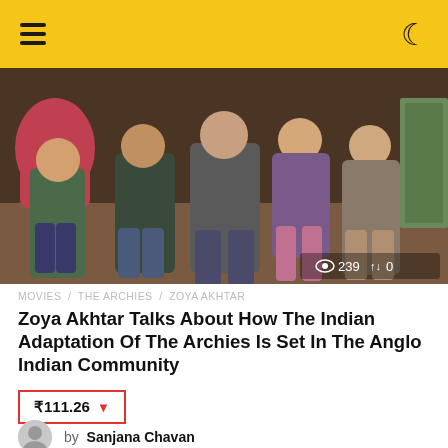Navigation bar with hamburger menu and dark mode toggle
[Figure (photo): Group of young people sitting casually on floor and furniture in a room, promotional still from The Archies. View count: 239, shares: 0.]
MOVIES / THE ARCHIES / ZOYA AKHTAR
Zoya Akhtar Talks About How The Indian Adaptation Of The Archies Is Set In The Anglo Indian Community
₹111.26 ▼
by Sanjana Chavan
[Figure (photo): Partial view of a person on stage with purple bokeh background lighting.]